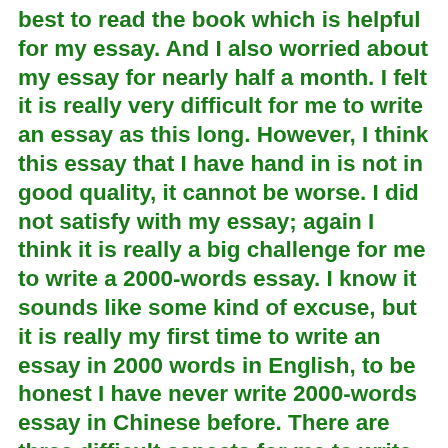best to read the book which is helpful for my essay. And I also worried about my essay for nearly half a month. I felt it is really very difficult for me to write an essay as this long. However, I think this essay that I have hand in is not in good quality, it cannot be worse. I did not satisfy with my essay; again I think it is really a big challenge for me to write a 2000-words essay. I know it sounds like some kind of excuse, but it is really my first time to write an essay in 2000 words in English, to be honest I have never write 2000-words essay in Chinese before. There are three difficult aspects for me to write the essay. First, is how to use the information from the book, there are so many books to read, but I cannot find which part is needed in this essay, and sometimes I cannot concentrate my mind in reading the book. There are so difficult to...